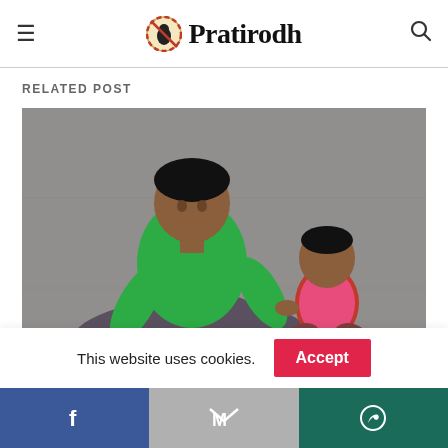Pratirodh
RELATED POST
[Figure (photo): A young boy in a green jacket sits cross-legged on the ground feeding a toddler, with a plate of food in front of them on the pavement.]
This website uses cookies.
Accept
Facebook | Email | WhatsApp